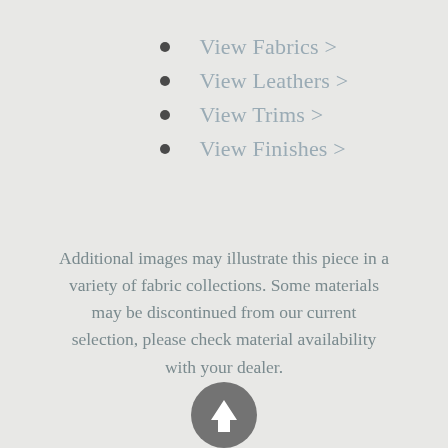View Fabrics >
View Leathers >
View Trims >
View Finishes >
Additional images may illustrate this piece in a variety of fabric collections. Some materials may be discontinued from our current selection, please check material availability with your dealer.
[Figure (illustration): Circular scroll-to-top button with upward arrow, dark grey background]